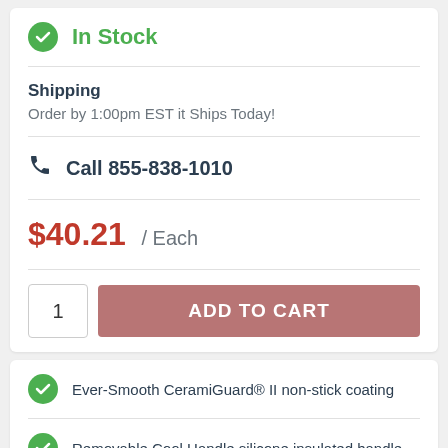In Stock
Shipping
Order by 1:00pm EST it Ships Today!
Call 855-838-1010
$40.21 / Each
1  ADD TO CART
Ever-Smooth CeramiGuard® II non-stick coating
Removable Cool Handle silicone insulated handle